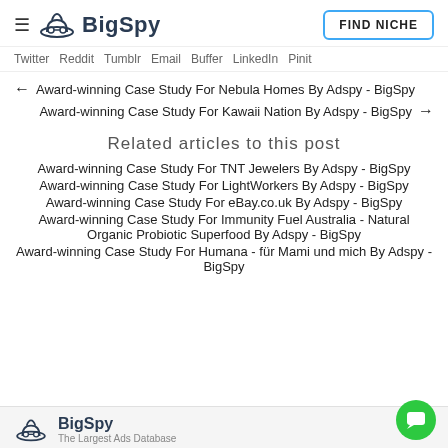BigSpy | FIND NICHE
Twitter | Reddit | Tumblr | Email | Buffer | LinkedIn | Pinit
← Award-winning Case Study For Nebula Homes By Adspy - BigSpy
Award-winning Case Study For Kawaii Nation By Adspy - BigSpy →
Related articles to this post
Award-winning Case Study For TNT Jewelers By Adspy - BigSpy
Award-winning Case Study For LightWorkers By Adspy - BigSpy
Award-winning Case Study For eBay.co.uk By Adspy - BigSpy
Award-winning Case Study For Immunity Fuel Australia - Natural Organic Probiotic Superfood By Adspy - BigSpy
Award-winning Case Study For Humana - für Mami und mich By Adspy - BigSpy
BigSpy — The Largest Ads Database